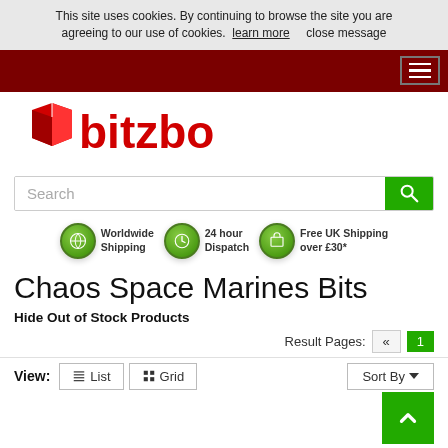This site uses cookies. By continuing to browse the site you are agreeing to our use of cookies. learn more close message
[Figure (logo): Bitzbox logo with red box icon and red bold text 'bitzbox']
Search
[Figure (infographic): Three circular green icons with labels: Worldwide Shipping, 24 hour Dispatch, Free UK Shipping over £30*]
Chaos Space Marines Bits
Hide Out of Stock Products
Result Pages: «
View: List Grid
Sort By